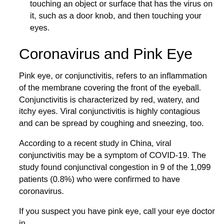Disinfect surfaces. You can catch COVID-19 by touching an object or surface that has the virus on it, such as a door knob, and then touching your eyes.
Coronavirus and Pink Eye
Pink eye, or conjunctivitis, refers to an inflammation of the membrane covering the front of the eyeball. Conjunctivitis is characterized by red, watery, and itchy eyes. Viral conjunctivitis is highly contagious and can be spread by coughing and sneezing, too.
According to a recent study in China, viral conjunctivitis may be a symptom of COVID-19. The study found conjunctival congestion in 9 of the 1,099 patients (0.8%) who were confirmed to have coronavirus.
If you suspect you have pink eye, call your eye doctor in